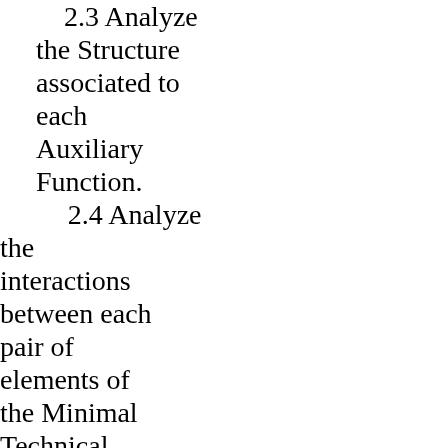2.3 Analyze the Structure associated to each Auxiliary Function.
2.4 Analyze the interactions between each pair of elements of the Minimal Technical System for each BM and perform a comparison according to the LESE and the TRIZ trends of evolution
2.5 Analysis of the